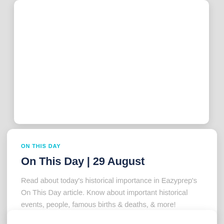ON THIS DAY
On This Day | 29 August
Read about today's historical importance in Eazyprep's On This Day article. Know about important historical events, people, famous births & deaths, & more!